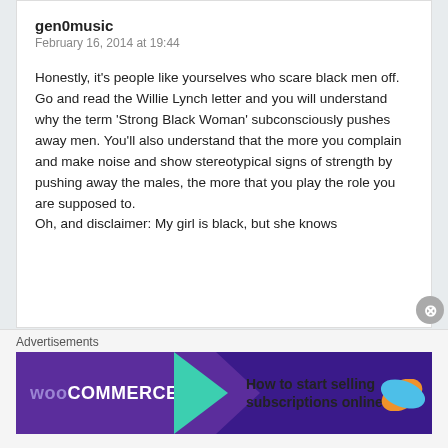gen0music
February 16, 2014 at 19:44
Honestly, it's people like yourselves who scare black men off.
Go and read the Willie Lynch letter and you will understand why the term 'Strong Black Woman' subconsciously pushes away men. You'll also understand that the more you complain and make noise and show stereotypical signs of strength by pushing away the males, the more that you play the role you are supposed to.
Oh, and disclaimer: My girl is black, but she knows
Advertisements
[Figure (screenshot): WooCommerce advertisement banner: purple background with WooCommerce logo and arrow, text 'How to start selling subscriptions online', orange and blue decorative leaf shapes]